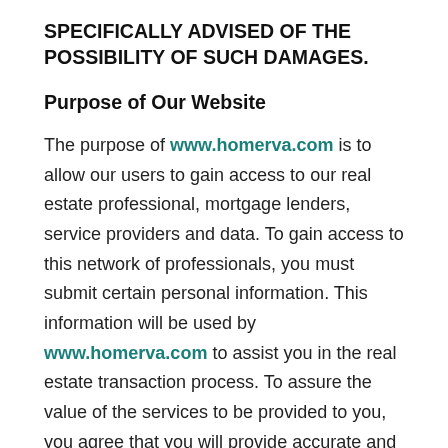SPECIFICALLY ADVISED OF THE POSSIBILITY OF SUCH DAMAGES.
Purpose of Our Website
The purpose of www.homerva.com is to allow our users to gain access to our real estate professional, mortgage lenders, service providers and data. To gain access to this network of professionals, you must submit certain personal information. This information will be used by www.homerva.com to assist you in the real estate transaction process. To assure the value of the services to be provided to you, you agree that you will provide accurate and complete information. Once you have been contacted by a real estate professional or service provider, any agreement